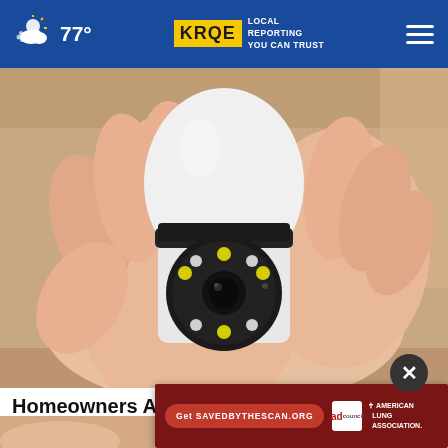77° | KRQE LOCAL REPORTING YOU CAN TRUST
[Figure (photo): A hand holding a small white bullet-shaped security camera with a circular lens surrounded by LED lights, resembling a light bulb socket camera.]
Homeowners Are Trading in Their Doorbell Cams for This.
Kelli...
[Figure (infographic): Advertisement banner: 'Get SAVEDBYTHESCAN.ORG' with Ad Council logo and American Lung Association logo on dark red background.]